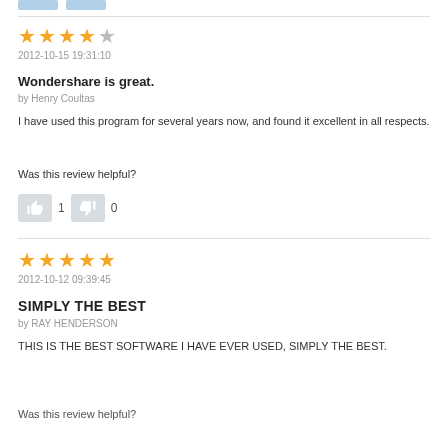[Figure (other): Top cut-off buttons/badges from previous review]
★★★★☆
2012-10-15 19:31:10
Wondershare is great.
by Henry Coultas
I have used this program for several years now, and found it excellent in all respects.
Was this review helpful?
[Figure (other): Thumbs up button with count 1 and thumbs down button with count 0]
★★★★★
2012-10-12 09:39:45
SIMPLY THE BEST
by RAY HENDERSON
THIS IS THE BEST SOFTWARE I HAVE EVER USED, SIMPLY THE BEST.
Was this review helpful?